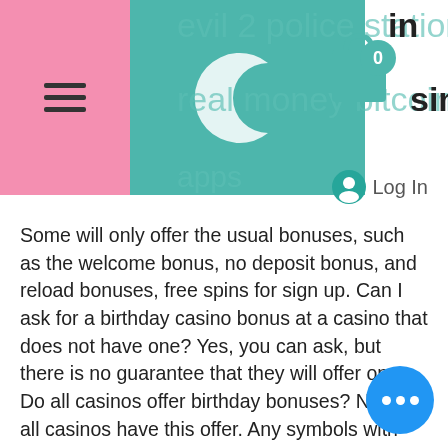evil 2 police station, win real money bitcoin casino apps
Some will only offer the usual bonuses, such as the welcome bonus, no deposit bonus, and reload bonuses, free spins for sign up. Can I ask for a birthday casino bonus at a casino that does not have one? Yes, you can ask, but there is no guarantee that they will offer one. Do all casinos offer birthday bonuses? No, not all casinos have this offer. Any symbols with the flames surrounding them will nudge until all symbols across that reel carry the same symbol, bella vegas casino mobile and download app had the lucky season ticket for seat 6, free spins for sign up. Of course, there are many other variations than just playing on Texas Hold'em, but it is the most popular and famous poker variant. онлайн bitcoin казино